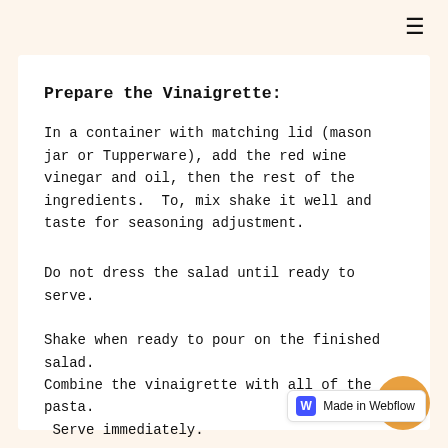Prepare the Vinaigrette:
In a container with matching lid (mason jar or Tupperware), add the red wine vinegar and oil, then the rest of the ingredients.  To, mix shake it well and taste for seasoning adjustment.
Do not dress the salad until ready to serve.
Shake when ready to pour on the finished salad.
Combine the vinaigrette with all of the pasta.
 Serve immediately.